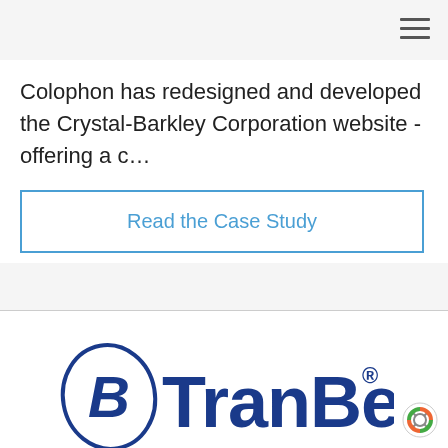Colophon has redesigned and developed the Crystal-Barkley Corporation website - offering a c…
Read the Case Study
[Figure (logo): TranBen logo with stylized B lettermark and TranBen wordmark in dark blue with registered trademark symbol]